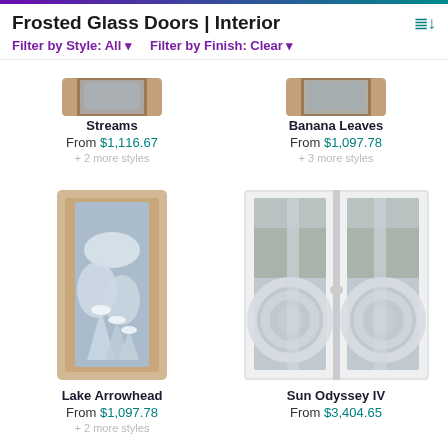Frosted Glass Doors | Interior
Filter by Style: All  Filter by Finish: Clear
[Figure (photo): Partial top view of Streams frosted glass door product]
Streams
From $1,116.67
+ 2 more styles
[Figure (photo): Partial top view of Banana Leaves frosted glass door product]
Banana Leaves
From $1,097.78
+ 3 more styles
[Figure (photo): Lake Arrowhead frosted glass interior door with frosted winter pine tree scene on light wood frame]
Lake Arrowhead
From $1,097.78
+ 2 more styles
[Figure (photo): Sun Odyssey IV double frosted glass doors with circular concentric ring design, white frame]
Sun Odyssey IV
From $3,404.65